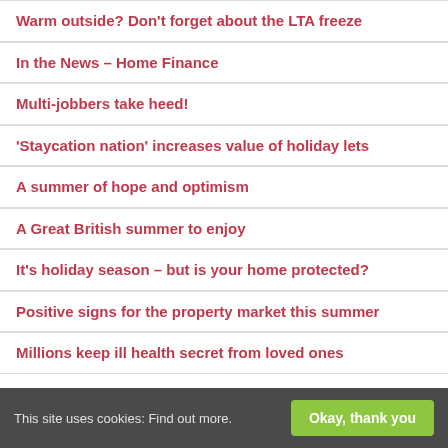Warm outside? Don't forget about the LTA freeze
In the News – Home Finance
Multi-jobbers take heed!
'Staycation nation' increases value of holiday lets
A summer of hope and optimism
A Great British summer to enjoy
It's holiday season – but is your home protected?
Positive signs for the property market this summer
Millions keep ill health secret from loved ones
This site uses cookies: Find out more. Okay, thank you